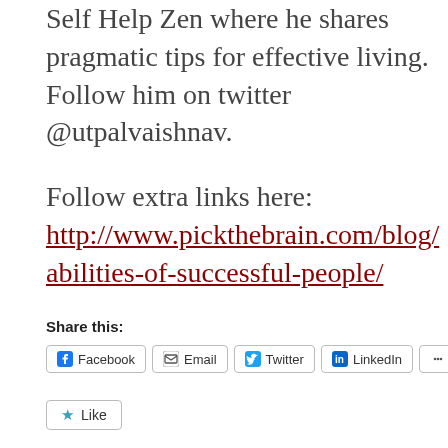Self Help Zen where he shares pragmatic tips for effective living. Follow him on twitter @utpalvaishnav.
Follow extra links here:
http://www.pickthebrain.com/blog/abilities-of-successful-people/
Share this:
Facebook  Email  Twitter  LinkedIn  More
Like